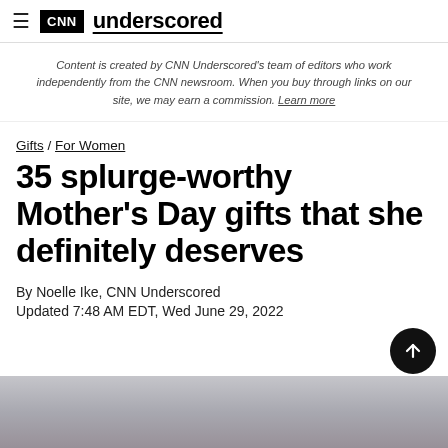CNN underscored
Content is created by CNN Underscored's team of editors who work independently from the CNN newsroom. When you buy through links on our site, we may earn a commission. Learn more
Gifts / For Women
35 splurge-worthy Mother's Day gifts that she definitely deserves
By Noelle Ike, CNN Underscored
Updated 7:48 AM EDT, Wed June 29, 2022
[Figure (photo): Partial photo of a person wearing a light sweater and jeans, visible from the waist down, at the bottom of the page]